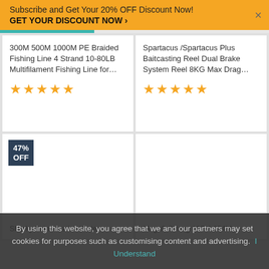Subscribe and Get Your 20% OFF Discount Now!
GET YOUR DISCOUNT NOW ›
300M 500M 1000M PE Braided Fishing Line 4 Strand 10-80LB Multifilament Fishing Line for…
[Figure (other): 5 gold star rating]
Spartacus /Spartacus Plus Baitcasting Reel Dual Brake System Reel 8KG Max Drag…
[Figure (other): 5 gold star rating]
47% OFF
Sharky III Innovative Water
Mega8 Strong 137M 274M
By using this website, you agree that we and our partners may set cookies for purposes such as customising content and advertising.  I Understand